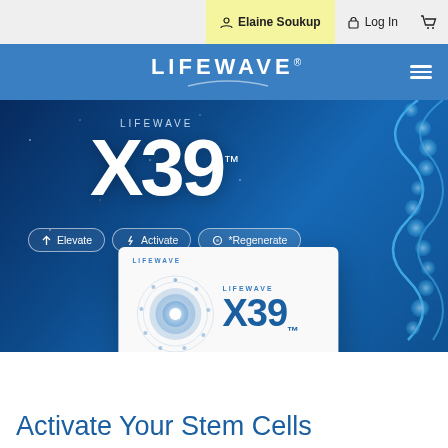Elaine Soukup  Log In
[Figure (logo): LifeWave logo in white on blue header bar with hamburger menu icon]
[Figure (photo): LifeWave X39 product hero image with DNA helix graphic on blue background, showing X39 text, and pill buttons: Elevate, Activate, Regenerate. Product box shown in lower portion.]
Activate Your Stem Cells